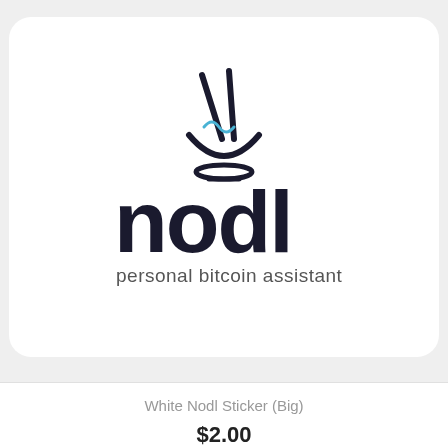[Figure (logo): White Nodl sticker logo — noodle bowl with chopsticks graphic above text 'nodl' and subtitle 'personal bitcoin assistant', white sticker shape on light grey background]
White Nodl Sticker (Big)
$2.00
[Figure (photo): Bitcoin Accepted Here sticker — grey background, orange Bitcoin logo circle on left, bold text 'bitcoin ACCEPTED HERE Lightning tool', vertical text 'powered by nodl.it' on right edge]